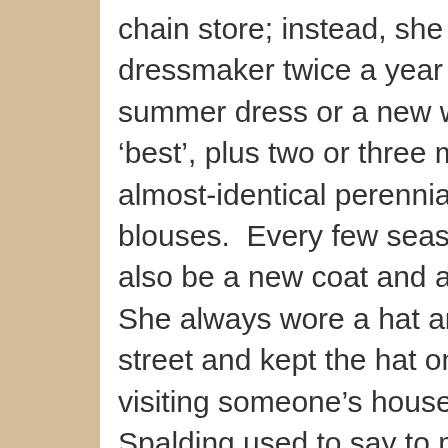chain store; instead, she was fitted by a dressmaker twice a year for a new summer dress or a new winter dress, for ‘best’, plus two or three more of the almost-identical perennial skirts and blouses.  Every few seasons, there would also be a new coat and a hat to match.  She always wore a hat and gloves in the street and kept the hat on if she were visiting someone’s house.  People in Spalding used to say to me, ‘Is your grandmother that old lady who’s always so beautifully dressed?’ Her shoes were handmade, too.  She went to